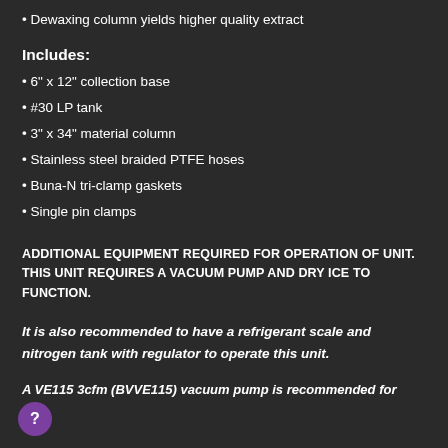• Dewaxing column yields higher quality extract
Includes:
• 6" x 12" collection base
• #30 LP tank
• 3" x 34" material column
• Stainless steel braided PTFE hoses
• Buna-N tri-clamp gaskets
• Single pin clamps
ADDITIONAL EQUIPMENT REQUIRED FOR OPERATION OF UNIT. THIS UNIT REQUIRES A VACUUM PUMP AND DRY ICE TO FUNCTION.
It is also recommended to have a refrigerant scale and nitrogen tank with regulator to operate this unit.
A VE115 3cfm (BVVE115) vacuum pump is recommended for